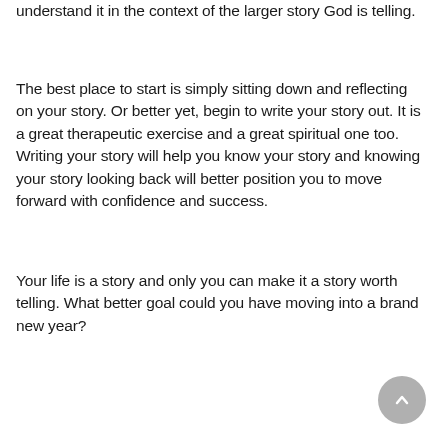understand it in the context of the larger story God is telling.
The best place to start is simply sitting down and reflecting on your story. Or better yet, begin to write your story out. It is a great therapeutic exercise and a great spiritual one too. Writing your story will help you know your story and knowing your story looking back will better position you to move forward with confidence and success.
Your life is a story and only you can make it a story worth telling. What better goal could you have moving into a brand new year?